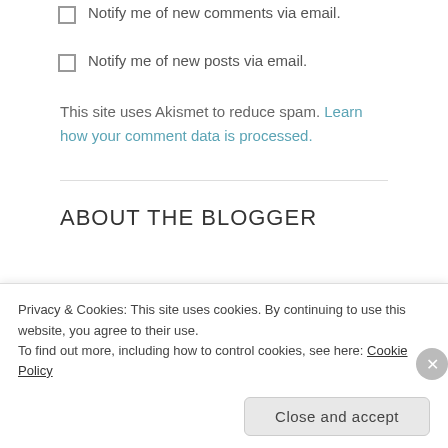Notify me of new comments via email.
Notify me of new posts via email.
This site uses Akismet to reduce spam. Learn how your comment data is processed.
ABOUT THE BLOGGER
[Figure (photo): Photo of the blogger with a decorative diamond/chevron pattern logo on the left side.]
Privacy & Cookies: This site uses cookies. By continuing to use this website, you agree to their use. To find out more, including how to control cookies, see here: Cookie Policy
Close and accept